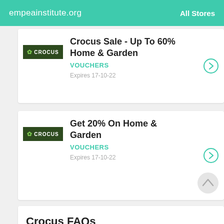empeainstitute.org | All Stores
Crocus Sale - Up To 60% Home & Garden
VOUCHERS
Expires 17-10-22
Get 20% On Home & Garden
VOUCHERS
Expires 17-10-22
Crocus FAQs